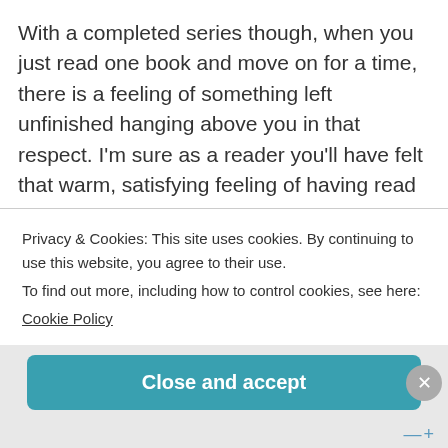With a completed series though, when you just read one book and move on for a time, there is a feeling of something left unfinished hanging above you in that respect. I'm sure as a reader you'll have felt that warm, satisfying feeling of having read something really good that spoke to you or made you feel something or was simply just exciting or imaginative. It's a buzz in a way. I feel like finishing or getting towards finishing a series of books will give that same feeling of achievement.
Privacy & Cookies: This site uses cookies. By continuing to use this website, you agree to their use.
To find out more, including how to control cookies, see here:
Cookie Policy
Close and accept